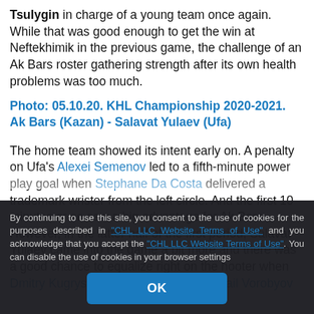Tsulygin in charge of a young team once again. While that was good enough to get the win at Neftekhimik in the previous game, the challenge of an Ak Bars roster gathering strength after its own health problems was too much.
Photo: 05.10.20. KHL Championship 2020-2021. Ak Bars (Kazan) - Salavat Yulaev (Ufa)
The home team showed its intent early on. A penalty on Ufa's Alexei Semenov led to a fifth-minute power play goal when Stephane Da Costa delivered a trademark wrister from the left circle. And the first 10 minutes or so saw a big advantage for Ak Bars. However, in the latter half of the first period, Salavat Yulaev came into the game a bit more and there was a good chance to equalize right on the hooter when Dmitry Kugryshev looked to set up Mikhail Vorobyov
By continuing to use this site, you consent to the use of cookies for the purposes described in "CHL LLC Website Terms of Use" and you acknowledge that you accept the "CHL LLC Website Terms of Use". You can disable the use of cookies in your browser settings
OK